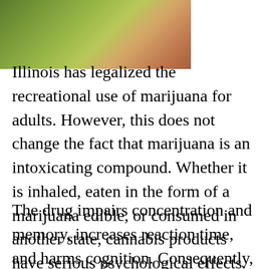[Figure (photo): Partial view of a person against a green background, showing an arm or hand, cropped at top of page]
Illinois has legalized the recreational use of marijuana for adults. However, this does not change the fact that marijuana is an intoxicating compound. Whether it is inhaled, eaten in the form of a marijuana edible, or consumed in another state, cannabis products have serious psychological effects.
The drug impairs concentration and memory, increases reaction time, and harms cognition. Consequently, it is very dangerous to drive while high on marijuana. If you or a loved one